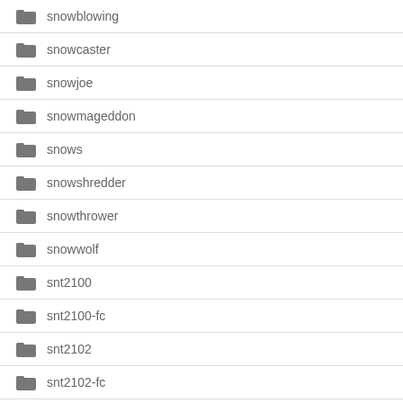snowblowing
snowcaster
snowjoe
snowmageddon
snows
snowshredder
snowthrower
snowwolf
snt2100
snt2100-fc
snt2102
snt2102-fc